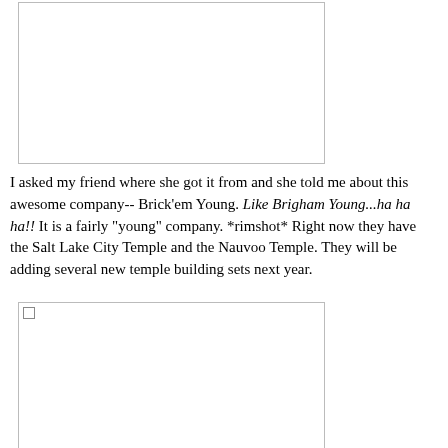[Figure (photo): Image placeholder (empty/broken image box) at top of page]
I asked my friend where she got it from and she told me about this awesome company-- Brick'em Young. Like Brigham Young...ha ha ha!! It is a fairly "young" company. *rimshot* Right now they have the Salt Lake City Temple and the Nauvoo Temple. They will be adding several new temple building sets next year.
[Figure (photo): Image placeholder (empty/broken image box) at bottom of page]